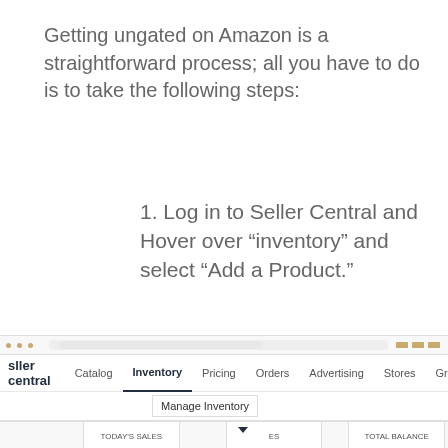Getting ungated on Amazon is a straightforward process; all you have to do is to take the following steps:
1. Log in to Seller Central and Hover over “inventory” and select “Add a Product.”
[Figure (screenshot): Screenshot of Amazon Seller Central navigation bar showing Catalog, Inventory (active/selected), Pricing, Orders, Advertising, Stores, and other menu items. A dropdown shows 'Manage Inventory' under the Inventory menu. Below the nav is a dashboard bar with 'TODAY'S SALES', another metric, and 'TOTAL BALANCE'.]